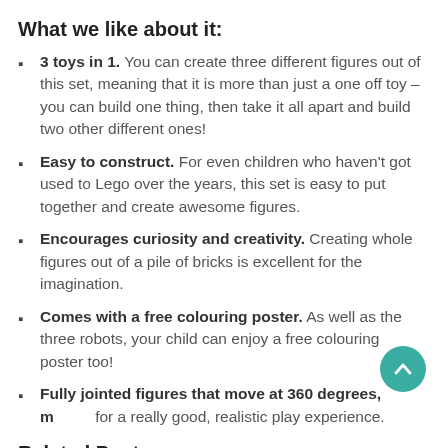What we like about it:
3 toys in 1. You can create three different figures out of this set, meaning that it is more than just a one off toy – you can build one thing, then take it all apart and build two other different ones!
Easy to construct. For even children who haven't got used to Lego over the years, this set is easy to put together and create awesome figures.
Encourages curiosity and creativity. Creating whole figures out of a pile of bricks is excellent for the imagination.
Comes with a free colouring poster. As well as the three robots, your child can enjoy a free colouring poster too!
Fully jointed figures that move at 360 degrees, making for a really good, realistic play experience.
Related Posts